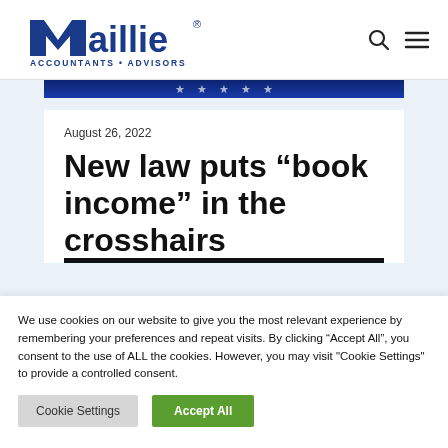Maillie Accountants · Advisors — navigation bar with search and menu icons
[Figure (screenshot): Blue stars banner image strip at top of article area]
August 26, 2022
New law puts “book income” in the crosshairs
We use cookies on our website to give you the most relevant experience by remembering your preferences and repeat visits. By clicking “Accept All”, you consent to the use of ALL the cookies. However, you may visit "Cookie Settings" to provide a controlled consent.
Cookie Settings | Accept All